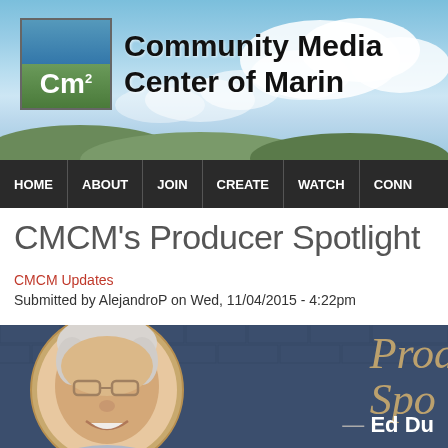Community Media Center of Marin
HOME | ABOUT | JOIN | CREATE | WATCH | CONN
CMCM's Producer Spotlight
CMCM Updates
Submitted by AlejandroP on Wed, 11/04/2015 - 4:22pm
[Figure (photo): Producer Spotlight photo showing an elderly man with white hair and glasses, smiling, inside a circular frame, with italic text 'Prod Spo' visible and '— Ed Du' at bottom right, on a dark blue brick background]